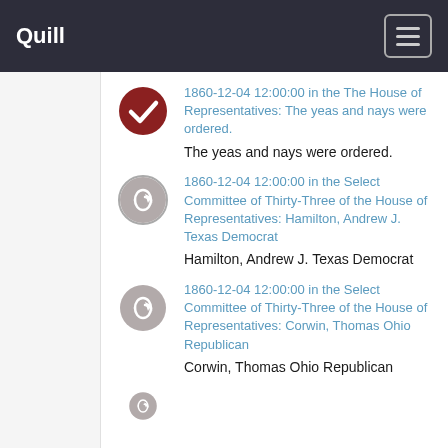Quill
1860-12-04 12:00:00 in the The House of Representatives: The yeas and nays were ordered. The yeas and nays were ordered.
1860-12-04 12:00:00 in the Select Committee of Thirty-Three of the House of Representatives: Hamilton, Andrew J. Texas Democrat Hamilton, Andrew J. Texas Democrat
1860-12-04 12:00:00 in the Select Committee of Thirty-Three of the House of Representatives: Corwin, Thomas Ohio Republican Corwin, Thomas Ohio Republican